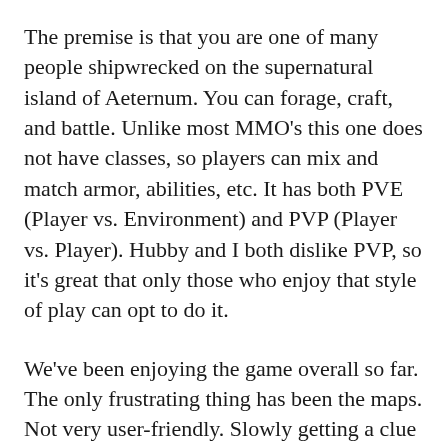The premise is that you are one of many people shipwrecked on the supernatural island of Aeternum. You can forage, craft, and battle. Unlike most MMO's this one does not have classes, so players can mix and match armor, abilities, etc. It has both PVE (Player vs. Environment) and PVP (Player vs. Player). Hubby and I both dislike PVP, so it's great that only those who enjoy that style of play can opt to do it.
We've been enjoying the game overall so far. The only frustrating thing has been the maps. Not very user-friendly. Slowly getting a clue on that. ὠC
More pics here.